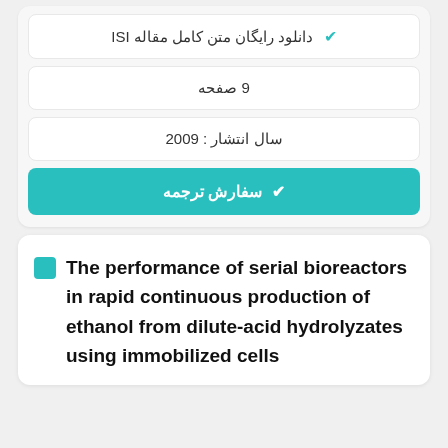✔ دانلود رایگان متن کامل مقاله ISI
9 صفحه
سال انتشار : 2009
✔ سفارش ترجمه
The performance of serial bioreactors in rapid continuous production of ethanol from dilute-acid hydrolyzates using immobilized cells